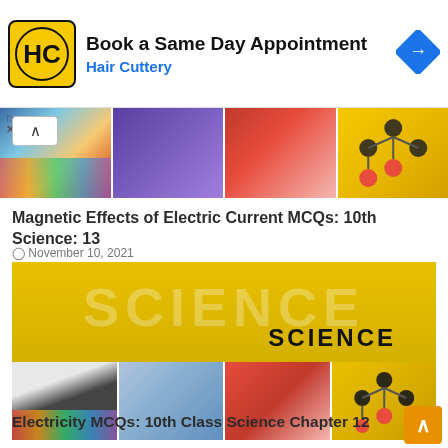[Figure (screenshot): Hair Cuttery advertisement banner: HC logo in yellow circle, 'Book a Same Day Appointment' headline, 'Hair Cuttery' subline in blue, blue navigation diamond icon on right]
[Figure (photo): Top image strip collage: rainbow prism, molecule structure, anatomy heart, molecular structure on yellow background]
Magnetic Effects of Electric Current MCQs: 10th Science: 13
November 10, 2021
[Figure (illustration): Science banner: golden/yellow background with large translucent 'SCIENCE' text watermark and bold 'SCIENCE' label, below a strip of science images including prism rainbow, lab equipment, heart anatomy, and molecule structure]
Electricity MCQs: 10th Class Science Chapter 12